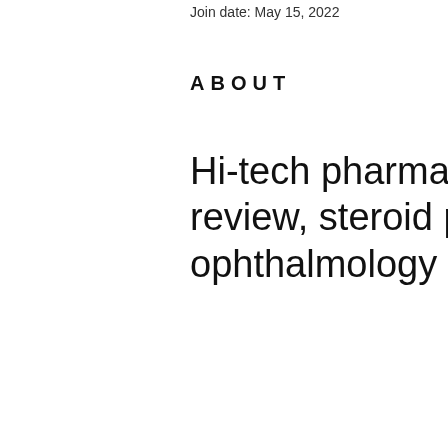Join date: May 15, 2022
ABOUT
Hi-tech pharmaceuticals dianabol review, steroid pulse therapy in ophthalmology
Hi-tech pharmaceuticals dianabol review, steroid pulse therapy in ophthalmology - Buy steroids online
[Figure (photo): Dark blurred image, appears to be a product or medical item with a faint golden glow or label in a dimly lit setting]